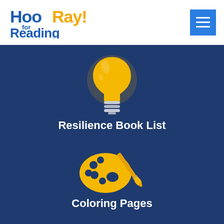[Figure (logo): HooRay! for Reading logo in blue text with stylized font]
[Figure (illustration): Blue hamburger menu button icon with three white horizontal lines]
[Figure (illustration): Yellow lightbulb icon on dark blue background]
Resilience Book List
[Figure (illustration): Yellow artist palette and paintbrush icon on dark blue background]
Coloring Pages